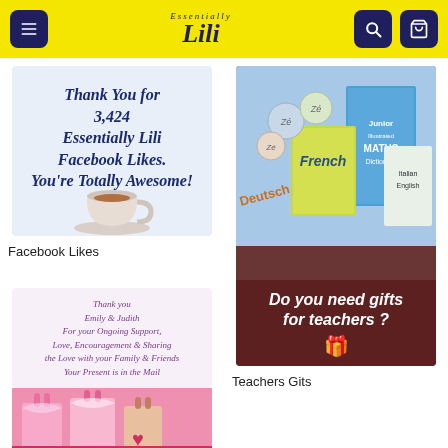Essentially Lili — navigation header
[Figure (photo): Thank You for 3,424 Essentially Lili Facebook Likes. You're Totally Awesome! — text on light blue background with coffee cup]
Facebook Likes
[Figure (photo): Thank you Emily & Judith for your Ongoing Support, Love, Encouragement & Sharing the Love with your Family & Friends. Your Present is in the Mail — pink gift bags photo]
[Figure (photo): Do you need gifts for teachers? — photo with language books, Zé products, and gift icon overlay on www.ess...i.com background]
Teachers Gits